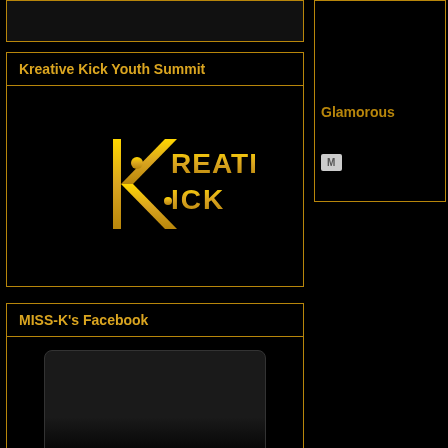[Figure (screenshot): Clipped top image area, partially visible]
Kreative Kick Youth Summit
[Figure (logo): Kreative Kick logo in gold on black background]
MISS-K's Facebook
[Figure (screenshot): Facebook embed widget placeholder]
Glamorous
[Figure (screenshot): Email/M button icon]
Sunday, M
GET R
Tune in to
She reports "Oh My G keep it to m to start this ??...Go on